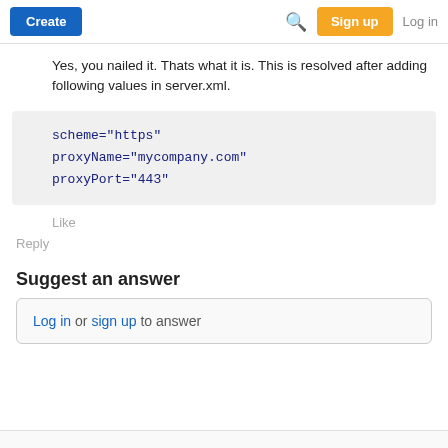Create | Search | Sign up | Log in
Yes, you nailed it. Thats what it is. This is resolved after adding following values in server.xml.
scheme="https"
proxyName="mycompany.com"
proxyPort="443"
Like
Reply
Suggest an answer
Log in or sign up to answer